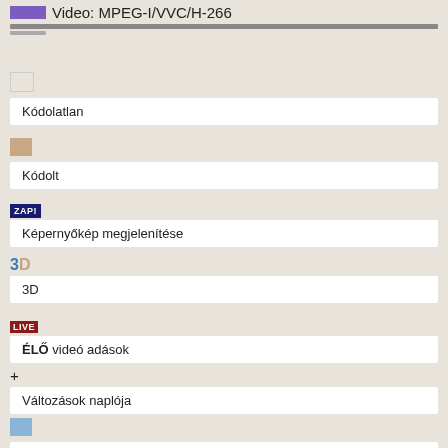Video: MPEG-I/VVC/H-266
Kódolatlan
Kódolt
Képernyőkép megjelenítése
3D
ÉLŐ videó adások
Változások naplója
DVB-S